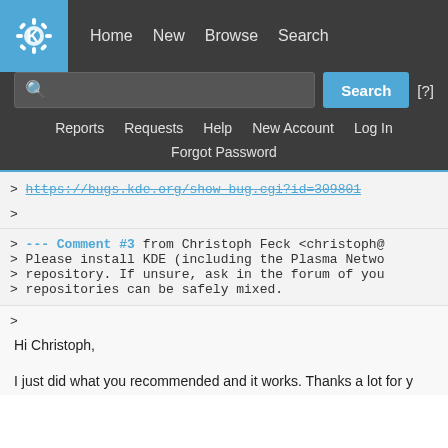KDE Bugtracker navigation: Home New Browse Search | Reports Requests Help New Account Log In | Forgot Password
> https://bugs.kde.org/show_bug.cgi?id=309801
>
> --- Comment #3 from Christoph Feck <christoph@
> Please install KDE (including the Plasma Netwo
> repository. If unsure, ask in the forum of you
> repositories can be safely mixed.
>
Hi Christoph,
I just did what you recommended and it works. Thanks a lot for y